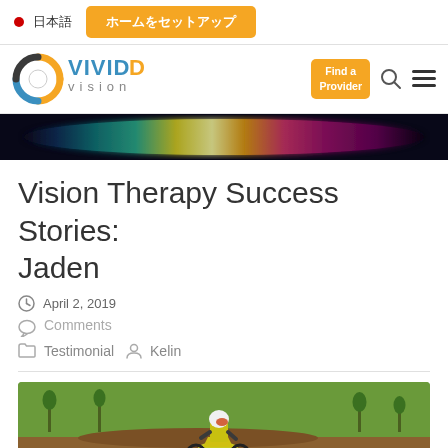日本語  ホームをセットアップ
[Figure (logo): Vivid Vision logo with circular eye icon and orange/blue VIVID VISION text, Find a Provider button, search icon, hamburger menu]
[Figure (photo): Colorful horizontal light spectrum banner image]
Vision Therapy Success Stories: Jaden
April 2, 2019
Comments
Testimonial   Kelin
[Figure (photo): Motocross rider on dirt bike in a field wearing white helmet and yellow/blue gear]